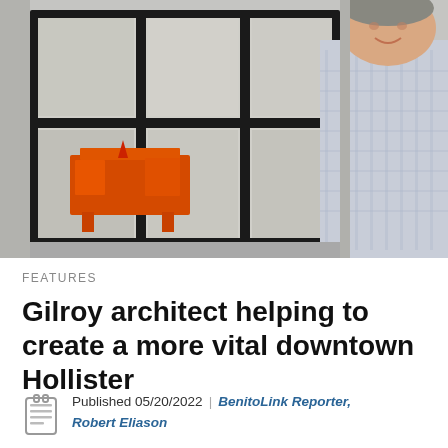[Figure (photo): A man in a light blue plaid shirt stands in front of large dark-framed windows. Through the windows, an orange construction lift is visible on a concrete surface outside.]
FEATURES
Gilroy architect helping to create a more vital downtown Hollister
Published 05/20/2022 | BenitoLink Reporter, Robert Eliason